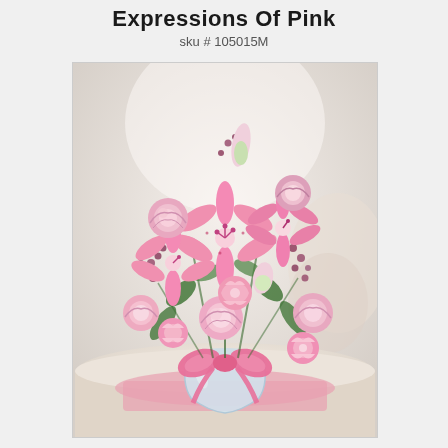Expressions Of Pink
sku # 105015M
[Figure (photo): A floral arrangement of pink lilies, pink roses, pink carnations, and purple accent flowers in a glass vase with a pink satin bow, placed on a pink napkin on a white table with a soft blurred background.]